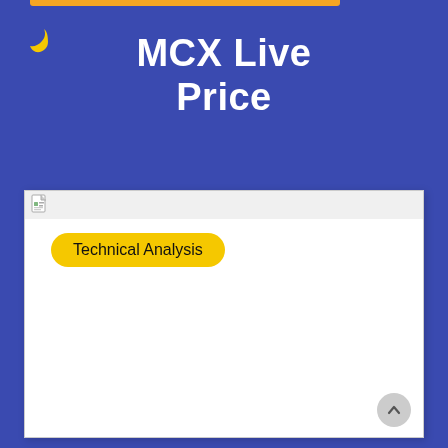MCX Live Price
[Figure (screenshot): Screenshot of a web page showing a 'Technical Analysis' button tab on a white content area with toolbar icon at top left.]